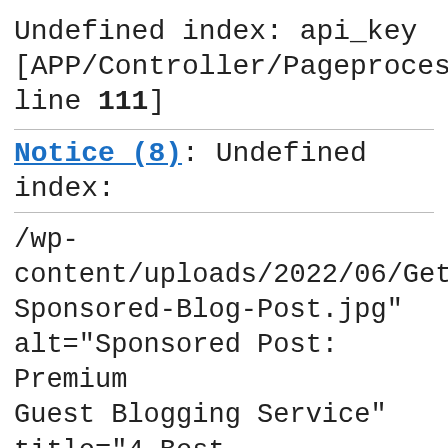Undefined index: api_key [APP/Controller/PageprocessController line 111]
Notice (8): Undefined index:
/wp-content/uploads/2022/06/Get-Sponsored-Blog-Post.jpg" alt="Sponsored Post: Premium Guest Blogging Service" title="4 Best Ways To Boost Your Ecommerce Store Sales 28">
Computer